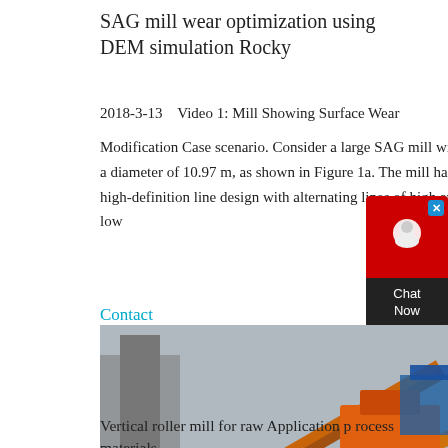SAG mill wear optimization using DEM simulation Rocky
2018-3-13    Video 1: Mill Showing Surface Wear
Modification Case scenario. Consider a large SAG mill with a diameter of 10.97 m, as shown in Figure 1a. The mill has a high-definition line design with alternating lines of high and low
Contact
[Figure (photo): Industrial mineral processing plant showing vertical roller mill equipment and conveyor systems, orange machinery visible]
Vertical roller mill for raw Application p rocess materials